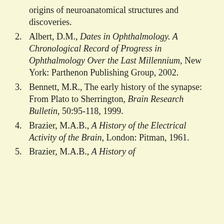(continuation) origins of neuroanatomical structures and discoveries.
2. Albert, D.M., Dates in Ophthalmology. A Chronological Record of Progress in Ophthalmology Over the Last Millennium, New York: Parthenon Publishing Group, 2002.
3. Bennett, M.R., The early history of the synapse: From Plato to Sherrington, Brain Research Bulletin, 50:95-118, 1999.
4. Brazier, M.A.B., A History of the Electrical Activity of the Brain, London: Pitman, 1961.
5. Brazier, M.A.B., A History of